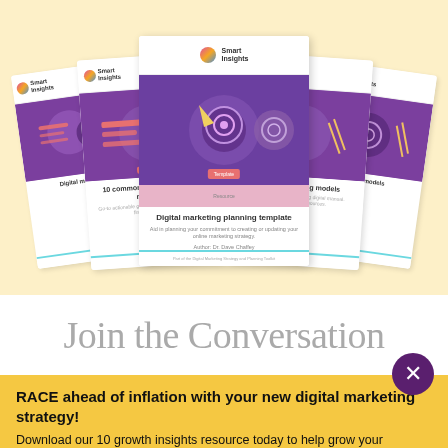[Figure (illustration): A fan of five Smart Insights branded document covers/books arranged in an arc against a light yellow/cream background. The center book is titled 'Digital marketing planning template' by Dr. Dave Chaffey. Other visible books include '10 common social media mistakes'. All feature purple illustrated covers with the Smart Insights logo.]
Join the Conversation
RACE ahead of inflation with your new digital marketing strategy!
Download our 10 growth insights resource today to help grow your business